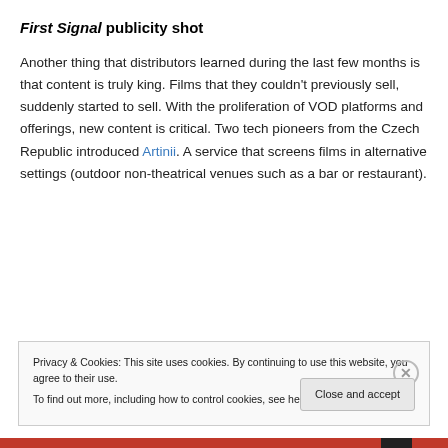First Signal publicity shot
Another thing that distributors learned during the last few months is that content is truly king. Films that they couldn't previously sell, suddenly started to sell. With the proliferation of VOD platforms and offerings, new content is critical. Two tech pioneers from the Czech Republic introduced Artinii. A service that screens films in alternative settings (outdoor non-theatrical venues such as a bar or restaurant).
Privacy & Cookies: This site uses cookies. By continuing to use this website, you agree to their use.
To find out more, including how to control cookies, see here: Cookie Policy
Close and accept